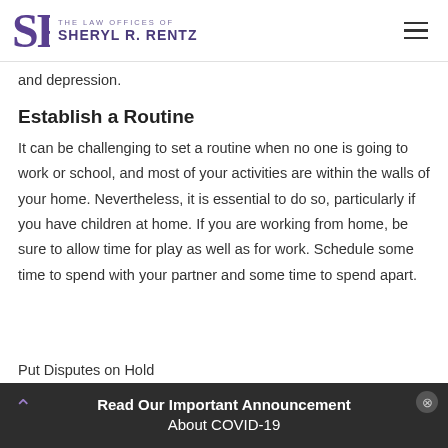THE LAW OFFICES OF SHERYL R. RENTZ
and depression.
Establish a Routine
It can be challenging to set a routine when no one is going to work or school, and most of your activities are within the walls of your home. Nevertheless, it is essential to do so, particularly if you have children at home. If you are working from home, be sure to allow time for play as well as for work. Schedule some time to spend with your partner and some time to spend apart.
Put Disputes on Hold
When stress levels are high and you are confined at
Read Our Important Announcement About COVID-19